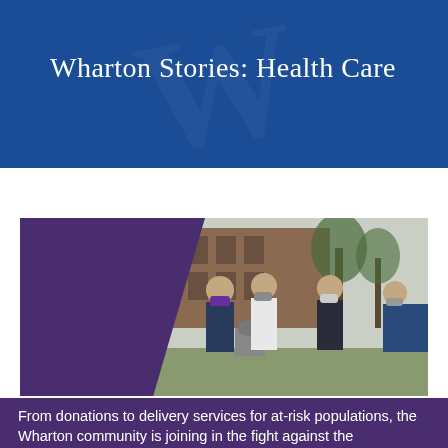Wharton Stories: Health Care
[Figure (photo): Group of people wearing face masks standing outdoors near a building and a statue, with a purple overlay on the left side of the image]
From donations to delivery services for at-risk populations, the Wharton community is joining in the fight against the